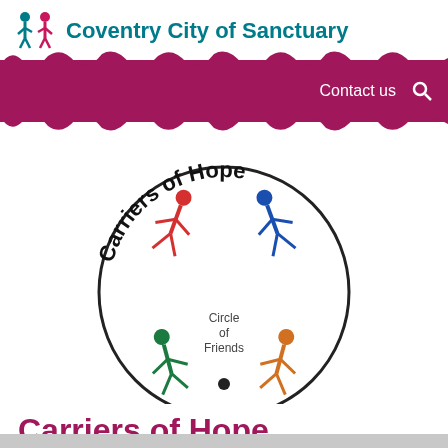Coventry City of Sanctuary
[Figure (logo): Carriers of Hope logo — a circle with 'Carriers of Hope' text arched at the top, and four coloured stick figures (red, blue, green, orange) arranged in a circle holding hands, with 'Circle of Friends' text in the centre]
Carriers of Hope